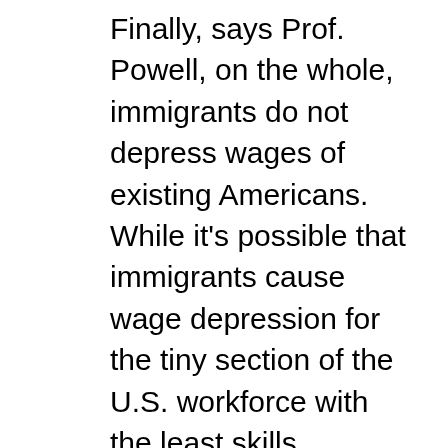Finally, says Prof. Powell, on the whole, immigrants do not depress wages of existing Americans. While it's possible that immigrants cause wage depression for the tiny section of the U.S. workforce with the least skills, immigrants increase wages for everyone else because they contribute to a growing economy and GDP. In fact, in the real world, it seems as though just the opposite is true: The areas of the country with the fewest immigrants are experiencing the most wage stagnation, and the areas of the country with the most immigration are experiencing the fastest wage growth.
Policymakers wanting to improve their economies should remember these points the next time they look for someone to blame.